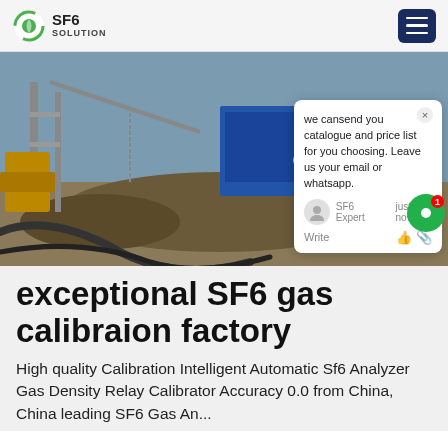SF6 SOLUTION
[Figure (photo): Industrial construction site with heavy equipment, blue structures, workers in hard hats, and machinery. A chat popup overlay is visible in the lower right of the image.]
exceptional SF6 gas calibraion factory
High quality Calibration Intelligent Automatic Sf6 Analyzer Gas Density Relay Calibrator Accuracy 0.0 from China, China leading SF6 Gas An...